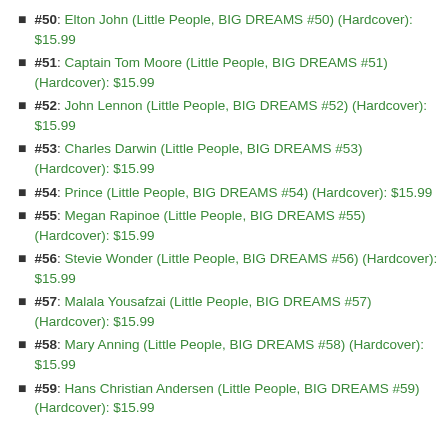#50: Elton John (Little People, BIG DREAMS #50) (Hardcover): $15.99
#51: Captain Tom Moore (Little People, BIG DREAMS #51) (Hardcover): $15.99
#52: John Lennon (Little People, BIG DREAMS #52) (Hardcover): $15.99
#53: Charles Darwin (Little People, BIG DREAMS #53) (Hardcover): $15.99
#54: Prince (Little People, BIG DREAMS #54) (Hardcover): $15.99
#55: Megan Rapinoe (Little People, BIG DREAMS #55) (Hardcover): $15.99
#56: Stevie Wonder (Little People, BIG DREAMS #56) (Hardcover): $15.99
#57: Malala Yousafzai (Little People, BIG DREAMS #57) (Hardcover): $15.99
#58: Mary Anning (Little People, BIG DREAMS #58) (Hardcover): $15.99
#59: Hans Christian Andersen (Little People, BIG DREAMS #59) (Hardcover): $15.99